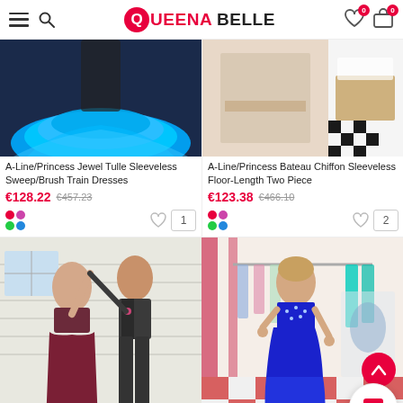Queena Belle
[Figure (photo): Product photo of blue tulle prom dress, bottom portion showing layered skirt]
A-Line/Princess Jewel Tulle Sleeveless Sweep/Brush Train Dresses
€128.22  €457.23
[Figure (photo): Product photo showing two-piece prom dress in beige/nude color, multi-panel image]
A-Line/Princess Bateau Chiffon Sleeveless Floor-Length Two Piece
€123.38  €466.10
[Figure (photo): Photo of couple wearing prom attire, woman in burgundy two-piece ball gown, man in dark suit]
[Figure (photo): Photo of woman in royal blue beaded two-piece prom dress in a dress shop]